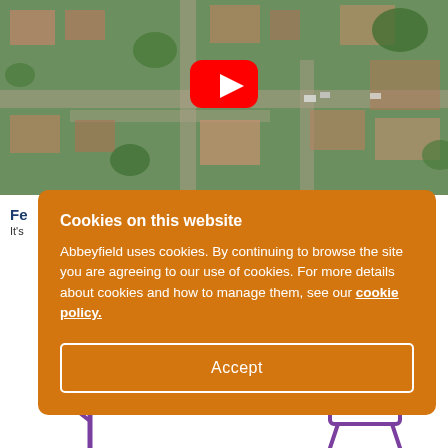[Figure (photo): Aerial view of a residential suburb with houses, streets, trees and parked cars, with a YouTube play button overlay in the center.]
Fe...
It's...
Cookies on this website
Abbeyfield uses cookies. By continuing to browse the site you are agreeing to our use of cookies. For more details about cookies and how to manage them, see our cookie policy.
Accept
[Figure (illustration): Purple line illustration of chairs at the bottom of the page.]